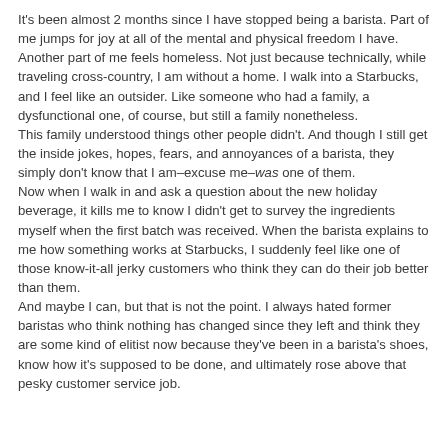It's been almost 2 months since I have stopped being a barista. Part of me jumps for joy at all of the mental and physical freedom I have. Another part of me feels homeless. Not just because technically, while traveling cross-country, I am without a home. I walk into a Starbucks, and I feel like an outsider. Like someone who had a family, a dysfunctional one, of course, but still a family nonetheless.
This family understood things other people didn't. And though I still get the inside jokes, hopes, fears, and annoyances of a barista, they simply don't know that I am–excuse me–was one of them.
Now when I walk in and ask a question about the new holiday beverage, it kills me to know I didn't get to survey the ingredients myself when the first batch was received. When the barista explains to me how something works at Starbucks, I suddenly feel like one of those know-it-all jerky customers who think they can do their job better than them.
And maybe I can, but that is not the point. I always hated former baristas who think nothing has changed since they left and think they are some kind of elitist now because they've been in a barista's shoes, know how it's supposed to be done, and ultimately rose above that pesky customer service job.